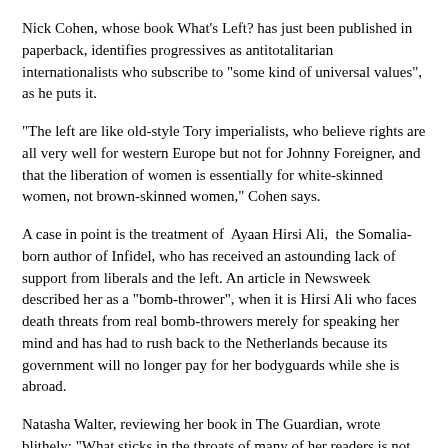Nick Cohen, whose book What's Left? has just been published in paperback, identifies progressives as antitotalitarian internationalists who subscribe to "some kind of universal values", as he puts it.
"The left are like old-style Tory imperialists, who believe rights are all very well for western Europe but not for Johnny Foreigner, and that the liberation of women is essentially for white-skinned women, not brown-skinned women," Cohen says.
A case in point is the treatment of Ayaan Hirsi Ali, the Somalia-born author of Infidel, who has received an astounding lack of support from liberals and the left. An article in Newsweek described her as a "bomb-thrower", when it is Hirsi Ali who faces death threats from real bomb-throwers merely for speaking her mind and has had to rush back to the Netherlands because its government will no longer pay for her bodyguards while she is abroad.
Natasha Walter, reviewing her book in The Guardian, wrote blithely: "What sticks in the throats of many of her readers is not her feminism, but her antilslamism" - as if the two could be separated. It was Hirsi Ali's culture that led her to be genitally mutilated as a girl, and it was her Muslim former co-religionists who murdered her friend Theo van Gogh, the Dutch